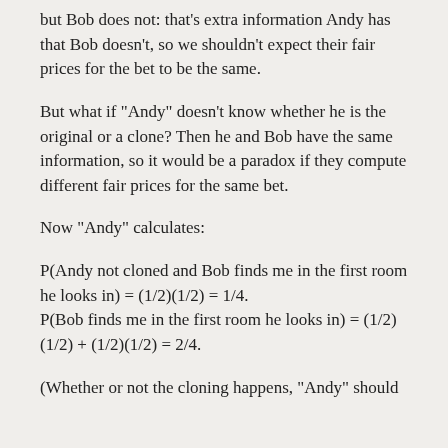but Bob does not: that's extra information Andy has that Bob doesn't, so we shouldn't expect their fair prices for the bet to be the same.
But what if "Andy" doesn't know whether he is the original or a clone? Then he and Bob have the same information, so it would be a paradox if they compute different fair prices for the same bet.
Now "Andy" calculates:
P(Andy not cloned and Bob finds me in the first room he looks in) = (1/2)(1/2) = 1/4.
P(Bob finds me in the first room he looks in) = (1/2)(1/2) + (1/2)(1/2) = 2/4.
(Whether or not the cloning happens, "Andy" should